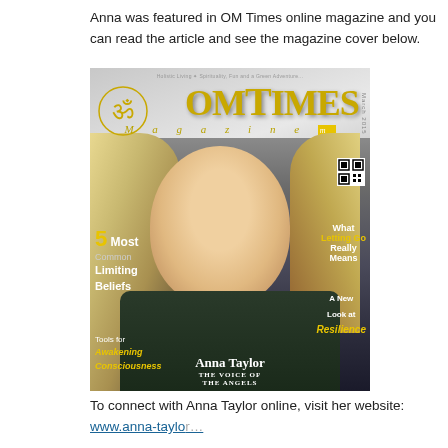Anna was featured in OM Times online magazine and you can read the article and see the magazine cover below.
[Figure (photo): Cover of OM Times Magazine March 2015 featuring Anna Taylor, 'The Voice of the Angels'. The cover shows a blonde woman smiling, with text overlays for articles including 'What Letting Go Really Means', '5 Most Common Limiting Beliefs', 'A New Look at Resilience', and 'Tools for Awakening Consciousness'.]
To connect with Anna Taylor online, visit her website: www.anna-taylor...